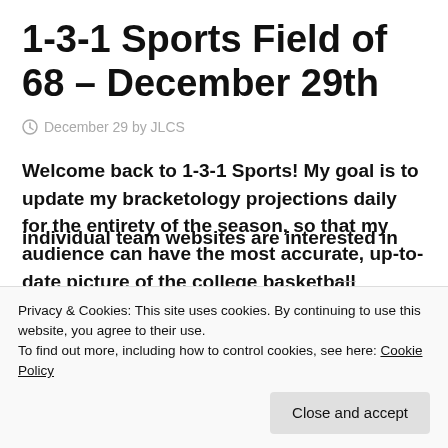1-3-1 Sports Field of 68 – December 29th
December 29 by JLCS
Welcome back to 1-3-1 Sports! My goal is to update my bracketology projections daily for the entirety of the season, so that my audience can have the most accurate, up-to-date picture of the college basketball
Privacy & Cookies: This site uses cookies. By continuing to use this website, you agree to their use.
To find out more, including how to control cookies, see here: Cookie Policy
individual team websites are interested in